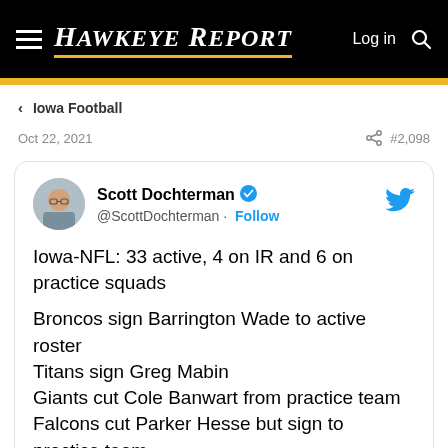HAWKEYE REPORT
Iowa Football
Oct 22, 2021  #2,098
[Figure (screenshot): Embedded tweet from @ScottDochterman showing Iowa-NFL roster updates including 33 active, 4 on IR and 6 on practice squads. Broncos sign Barrington Wade to active roster. Titans sign Greg Mabin. Giants cut Cole Banwart from practice team. Falcons cut Parker Hesse but sign to practice team.]